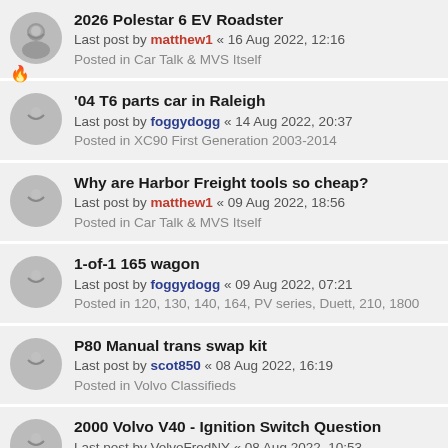2026 Polestar 6 EV Roadster
Last post by matthew1 « 16 Aug 2022, 12:16
Posted in Car Talk & MVS Itself
'04 T6 parts car in Raleigh
Last post by foggydogg « 14 Aug 2022, 20:37
Posted in XC90 First Generation 2003-2014
Why are Harbor Freight tools so cheap?
Last post by matthew1 « 09 Aug 2022, 18:56
Posted in Car Talk & MVS Itself
1-of-1 165 wagon
Last post by foggydogg « 09 Aug 2022, 07:21
Posted in 120, 130, 140, 164, PV series, Duett, 210, 1800
P80 Manual trans swap kit
Last post by scot850 « 08 Aug 2022, 16:19
Posted in Volvo Classifieds
2000 Volvo V40 - Ignition Switch Question
Last post by VolvoFredNY « 08 Aug 2022, 10:53